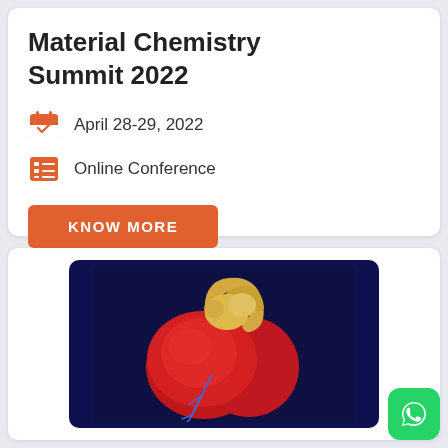Material Chemistry Summit 2022
April 28-29, 2022
Online Conference
KNOW MORE
[Figure (illustration): Anatomical illustration of a human heart on dark navy background]